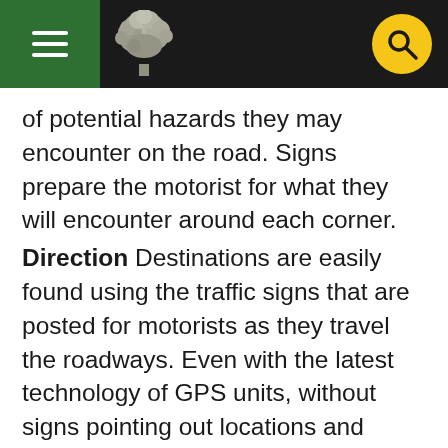[Navigation header with hamburger menu, tree logo, and search button]
of potential hazards they may encounter on the road. Signs prepare the motorist for what they will encounter around each corner.
Direction Destinations are easily found using the traffic signs that are posted for motorists as they travel the roadways. Even with the latest technology of GPS units, without signs pointing out locations and directions, people would be constantly lost and emergency services (Police, Fire and Medical) would have a difficult time reaching their destinations.